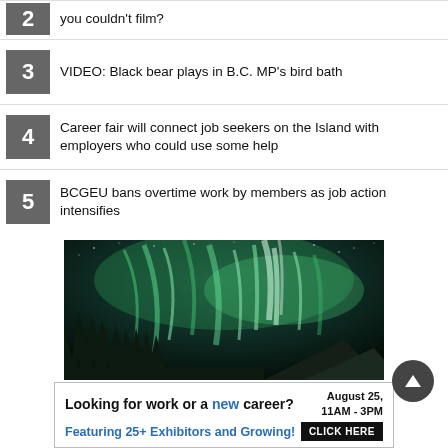2 you couldn't film?
3 VIDEO: Black bear plays in B.C. MP's bird bath
4 Career fair will connect job seekers on the Island with employers who could use some help
5 BCGEU bans overtime work by members as job action intensifies
[Figure (photo): Northern lights (aurora borealis) over a forest of pine trees with mountains, green and white light streaks against a dark sky]
Looking for work or a new career? August 25, 11AM - 3PM. Featuring 25+ Exhibitors and Growing! CLICK HERE